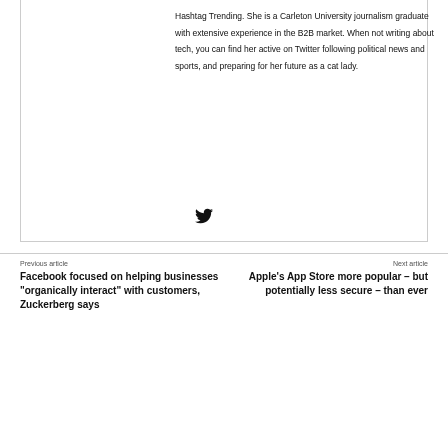Hashtag Trending. She is a Carleton University journalism graduate with extensive experience in the B2B market. When not writing about tech, you can find her active on Twitter following political news and sports, and preparing for her future as a cat lady.
[Figure (illustration): Twitter bird icon]
Previous article
Facebook focused on helping businesses “organically interact” with customers, Zuckerberg says
Next article
Apple’s App Store more popular – but potentially less secure – than ever